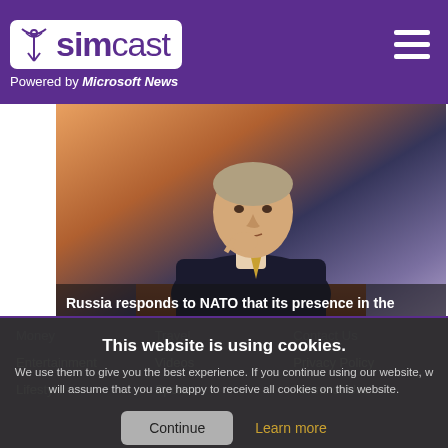simcast — Powered by Microsoft News
[Figure (photo): A man in a dark suit sitting at a podium with hand raised to chin in a thoughtful pose, against a blurred colorful background.]
Russia responds to NATO that its presence in the Arctic is of «vital interest».
This website is using cookies. We use them to give you the best experience. If you continue using our website, we will assume that you are happy to receive all cookies on this website.
Continue | Learn more
Money
Travel
Contact Us
Entertainment
Videos
Privacy Policy
Lifestyle
Sports
Terms of Use